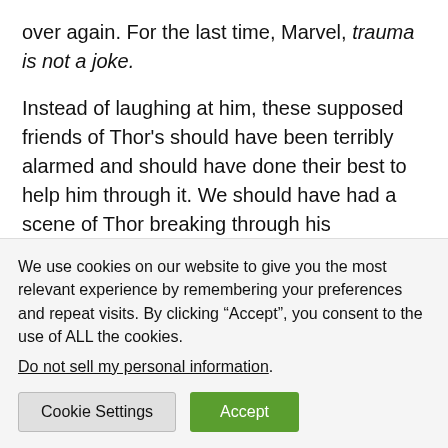over again. For the last time, Marvel, trauma is not a joke.
Instead of laughing at him, these supposed friends of Thor's should have been terribly alarmed and should have done their best to help him through it. We should have had a scene of Thor breaking through his repression and having a good, long cry and rant and rage, and then being able to gradually move on.
His mother does this for him instead, though we don't see [partially visible text]
We use cookies on our website to give you the most relevant experience by remembering your preferences and repeat visits. By clicking “Accept”, you consent to the use of ALL the cookies.
Do not sell my personal information.
Cookie Settings | Accept